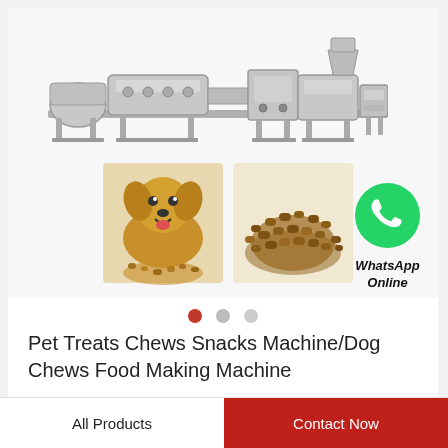[Figure (photo): Industrial pet food/dog chew making machine line — stainless steel extruder equipment shown from side view]
[Figure (photo): Golden retriever dog with pile of pet food kibble on left; pile of brown pet food kibble on right; WhatsApp green icon with phone symbol and text 'WhatsApp Online']
WhatsApp Online
Pet Treats Chews Snacks Machine/Dog Chews Food Making Machine
All Products
Contact Now